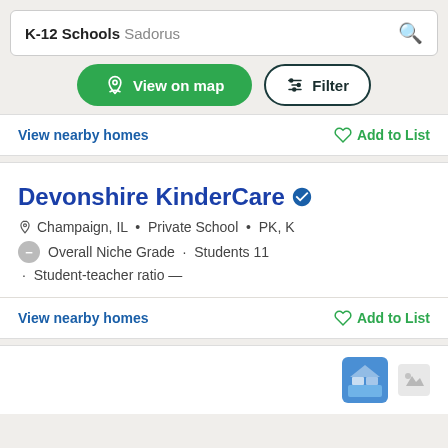K-12 Schools Sadorus
View on map
Filter
View nearby homes | Add to List
Devonshire KinderCare
Champaign, IL · Private School · PK, K
Overall Niche Grade · Students 11
· Student-teacher ratio —
View nearby homes | Add to List